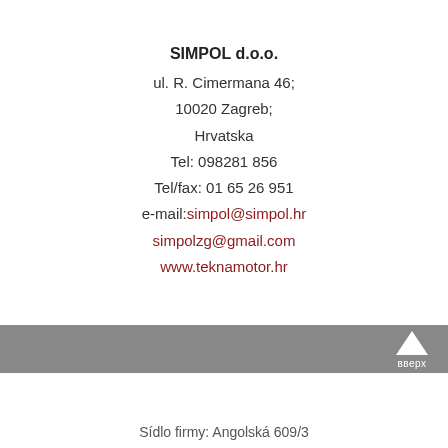SIMPOL d.o.o.
ul. R. Cimermana 46;
10020 Zagreb;
Hrvatska
Tel: 098281 856
Tel/fax: 01 65 26 951
e-mail:simpol@simpol.hr
simpolzg@gmail.com
www.teknamotor.hr
[Figure (other): Gray bar with upward chevron arrow and Cyrillic text 'вверх' (meaning 'up') on the right side]
Sídlo firmy: Angolská 609/3